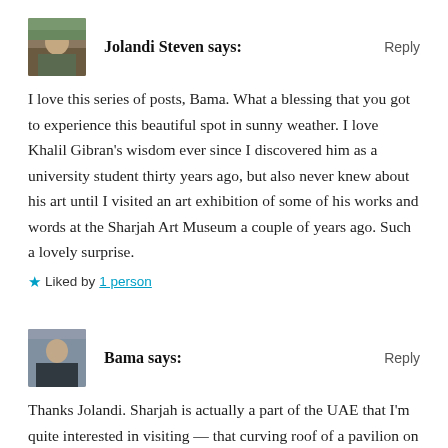[Figure (photo): Avatar photo of Jolandi Steven, outdoor/nature scene]
Jolandi Steven says:
Reply
I love this series of posts, Bama. What a blessing that you got to experience this beautiful spot in sunny weather. I love Khalil Gibran's wisdom ever since I discovered him as a university student thirty years ago, but also never knew about his art until I visited an art exhibition of some of his works and words at the Sharjah Art Museum a couple of years ago. Such a lovely surprise.
Liked by 1 person
[Figure (photo): Avatar photo of Bama, person in dark clothing]
Bama says:
Reply
Thanks Jolandi. Sharjah is actually a part of the UAE that I'm quite interested in visiting — that curving roof of a pavilion on Al Noor Island is one of the things I most want to see in the